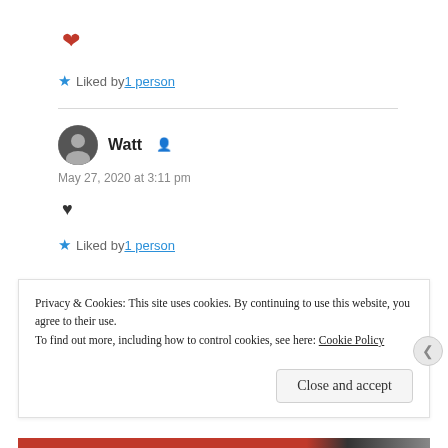♥ (red heart emoji)
★ Liked by 1 person
Watt 👤
May 27, 2020 at 3:11 pm
♥
★ Liked by 1 person
Privacy & Cookies: This site uses cookies. By continuing to use this website, you agree to their use.
To find out more, including how to control cookies, see here: Cookie Policy
Close and accept